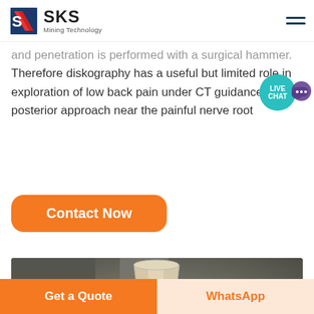SKS Mining Technology
and penetration is performed with a surgical hammer. Therefore diskography has a useful but limited role in exploration of low back pain under CT guidance via a posterior approach near the painful nerve root
[Figure (other): Orange rounded-rectangle Contact Now button]
[Figure (photo): Close-up photo of industrial grinding or milling machine component — a conical metal piece mounted on a circular flange/ring assembly with bolts]
Get a Quote  |  WhatsApp